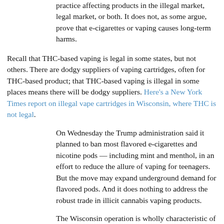practice affecting products in the illegal market, legal market, or both. It does not, as some argue, prove that e-cigarettes or vaping causes long-term harms.
Recall that THC-based vaping is legal in some states, but not others. There are dodgy suppliers of vaping cartridges, often for THC-based product; that THC-based vaping is illegal in some places means there will be dodgy suppliers. Here's a New York Times report on illegal vape cartridges in Wisconsin, where THC is not legal.
On Wednesday the Trump administration said it planned to ban most flavored e-cigarettes and nicotine pods — including mint and menthol, in an effort to reduce the allure of vaping for teenagers. But the move may expand underground demand for flavored pods. And it does nothing to address the robust trade in illicit cannabis vaping products.
The Wisconsin operation is wholly characteristic of a "very advanced and mature illicit market for THC vape carts," said David Downs, an expert in the marijuana trade and the California bureau chief for